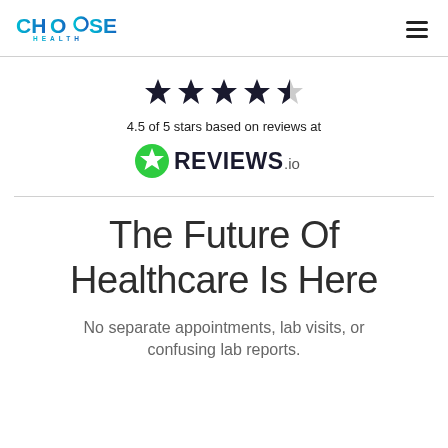CHOOSE HEALTH
[Figure (other): 4.5 out of 5 stars rating display with five stars (four filled, one half-filled)]
4.5 of 5 stars based on reviews at
[Figure (logo): REVIEWS.io logo with green star badge]
The Future Of Healthcare Is Here
No separate appointments, lab visits, or confusing lab reports.